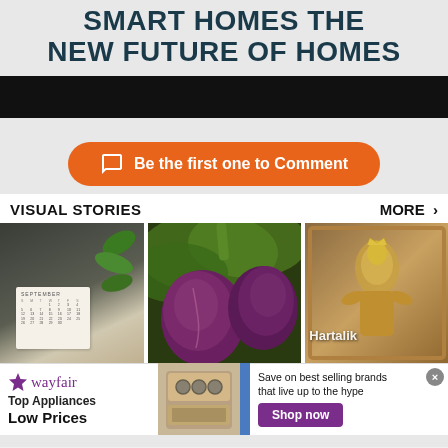SMART HOMES THE NEW FUTURE OF HOMES
Be the first one to Comment
VISUAL STORIES
MORE >
[Figure (photo): Calendar hanging on wall with plant leaves in background]
[Figure (photo): Close-up of purple figs hanging from a fig tree]
[Figure (photo): Hindu deity statue with text overlay reading Hartalik]
[Figure (infographic): Wayfair advertisement: Top Appliances Low Prices, Save on best selling brands that live up to the hype, Shop now button]